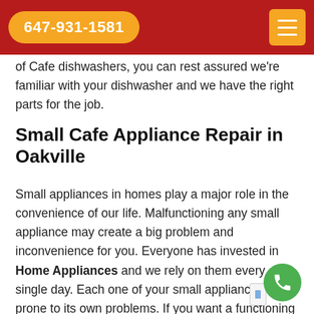647-931-1581
of Cafe dishwashers, you can rest assured we're familiar with your dishwasher and we have the right parts for the job.
Small Cafe Appliance Repair in Oakville
Small appliances in homes play a major role in the convenience of our life. Malfunctioning any small appliance may create a big problem and inconvenience for you. Everyone has invested in Home Appliances and we rely on them every single day. Each one of your small appliances is prone to its own problems. If you want a functioning kitchen at all times, stay on top of